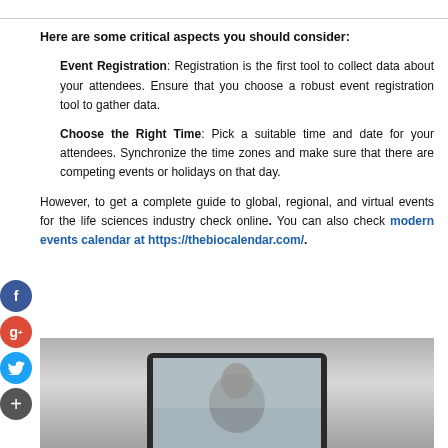Here are some critical aspects you should consider:
Event Registration: Registration is the first tool to collect data about your attendees. Ensure that you choose a robust event registration tool to gather data.
Choose the Right Time: Pick a suitable time and date for your attendees. Synchronize the time zones and make sure that there are competing events or holidays on that day.
However, to get a complete guide to global, regional, and virtual events for the life sciences industry check online. You can also check modern events calendar at https://thebiocalendar.com/.
[Figure (photo): Photo of a person on a video call shown on a laptop screen, partially visible at the bottom of the page.]